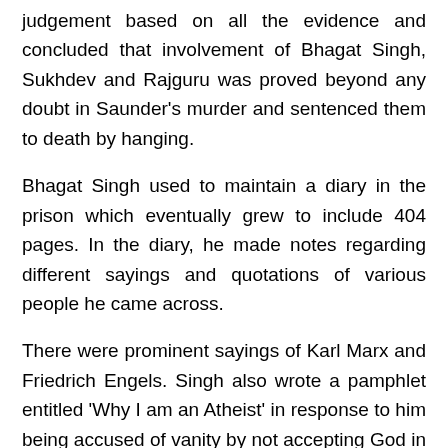judgement based on all the evidence and concluded that involvement of Bhagat Singh, Sukhdev and Rajguru was proved beyond any doubt in Saunder's murder and sentenced them to death by hanging.
Bhagat Singh used to maintain a diary in the prison which eventually grew to include 404 pages. In the diary, he made notes regarding different sayings and quotations of various people he came across.
There were prominent sayings of Karl Marx and Friedrich Engels. Singh also wrote a pamphlet entitled 'Why I am an Atheist' in response to him being accused of vanity by not accepting God in the face of death. It is also said that Bhagat singh signed a mercy petition through a comrade Bijoy Kumar Sinha on 8th March